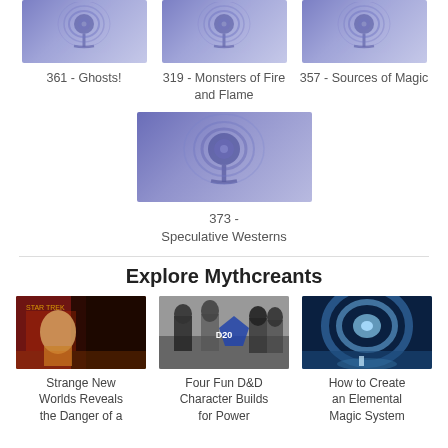[Figure (illustration): Podcast thumbnail for episode 361 - Ghosts! with purple podcast icon on blue-purple gradient background]
361 - Ghosts!
[Figure (illustration): Podcast thumbnail for episode 319 - Monsters of Fire and Flame with purple podcast icon]
319 - Monsters of Fire and Flame
[Figure (illustration): Podcast thumbnail for episode 357 - Sources of Magic with purple podcast icon]
357 - Sources of Magic
[Figure (illustration): Larger podcast thumbnail for episode 373 - Speculative Westerns with purple podcast icon]
373 - Speculative Westerns
Explore Mythcreants
[Figure (photo): Photo of a man in a Star Trek gold shirt in a sci-fi set for Strange New Worlds article]
Strange New Worlds Reveals the Danger of a
[Figure (photo): Photo of LEGO figures including characters with a D20 die for Four Fun D&D Character Builds article]
Four Fun D&D Character Builds for Power
[Figure (photo): Photo of a swirling vortex/portal over water with a figure for How to Create an Elemental Magic System article]
How to Create an Elemental Magic System